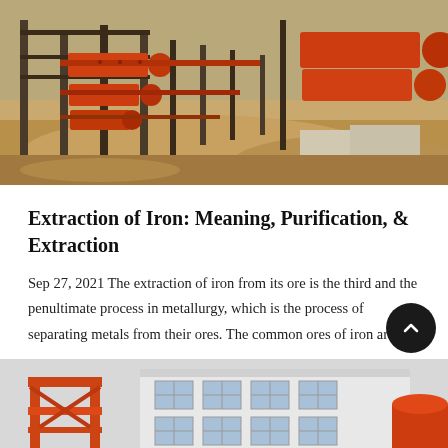[Figure (photo): Industrial mining equipment with large orange cylindrical drums and machinery on a dirt/sandy terrain construction site]
Extraction of Iron: Meaning, Purification, &amp; Extraction
Sep 27, 2021 The extraction of iron from its ore is the third and the penultimate process in metallurgy, which is the process of separating metals from their ores. The common ores of iron are i
[Figure (photo): Industrial facility with orange crane structure on left, white building with large windows in center, and orange industrial equipment on the right]